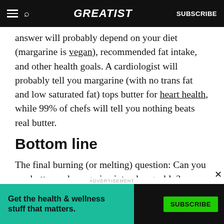GREATIST | SUBSCRIBE
answer will probably depend on your diet (margarine is vegan), recommended fat intake, and other health goals. A cardiologist will probably tell you margarine (with no trans fat and low saturated fat) tops butter for heart health, while 99% of chefs will tell you nothing beats real butter.
Bottom line
The final burning (or melting) question: Can you use butter and margarine interchangeably? Simply put, yes!
[Figure (screenshot): Advertisement banner: Get the health & wellness stuff that matters. SUBSCRIBE button. Teal and dark background.]